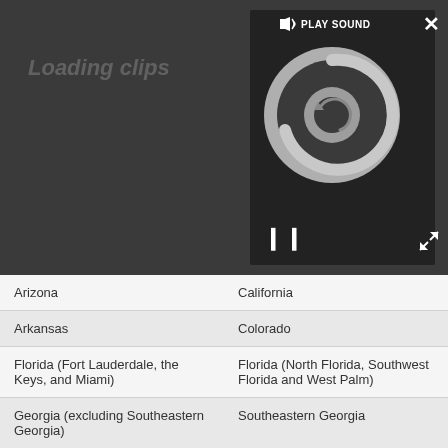[Figure (screenshot): Dark video/media player showing a loading spinner circle with pause button and 'PLAY SOUND' button overlay]
| Arizona | California |
| Arkansas | Colorado |
| Florida (Fort Lauderdale, the Keys, and Miami) | Florida (North Florida, Southwest Florida and West Palm) |
| Georgia (excluding Southeastern Georgia) | Southeastern Georgia |
| Illinois | Idaho |